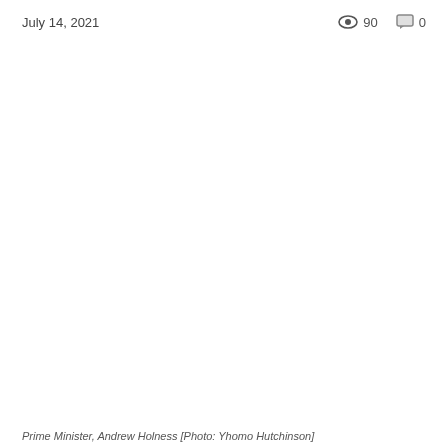July 14, 2021   👁 90   💬 0
[Figure (photo): Photo of Prime Minister Andrew Holness (image area mostly white/blank in this crop)]
Prime Minister, Andrew Holness [Photo: Yhomo Hutchinson]